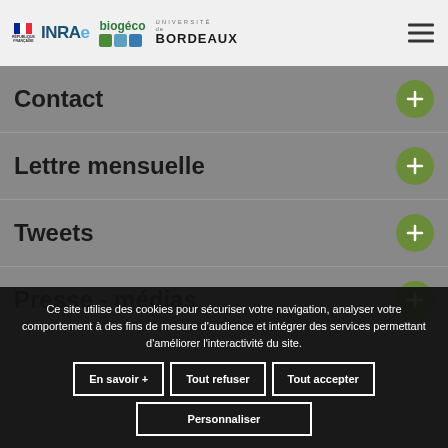République Française | INRAE | BioGéco | Université de Bordeaux
Contact
Lettre mensuelle
Tweets
Presse - médias
Ce site utilise des cookies pour sécuriser votre navigation, analyser votre comportement à des fins de mesure d'audience et intégrer des services permettant d'améliorer l'interactivité du site.
En savoir +
Tout refuser
Tout accepter
Personnaliser